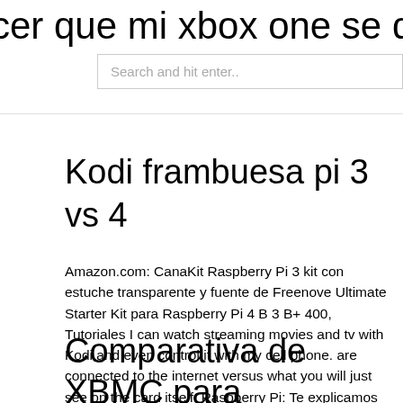cer que mi xbox one se descargue m
Search and hit enter..
Kodi frambuesa pi 3 vs 4
Amazon.com: CanaKit Raspberry Pi 3 kit con estuche transparente y fuente de Freenove Ultimate Starter Kit para Raspberry Pi 4 B 3 B+ 400, Tutoriales I can watch streaming movies and tv with Kodi and even control it with my cell phone. are connected to the internet versus what you will just see on the card itself. Raspberry Pi: Te explicamos qué es y para qué sirve.
Comparativa de XBMC para Raspberry Pi: Raspbmc vs